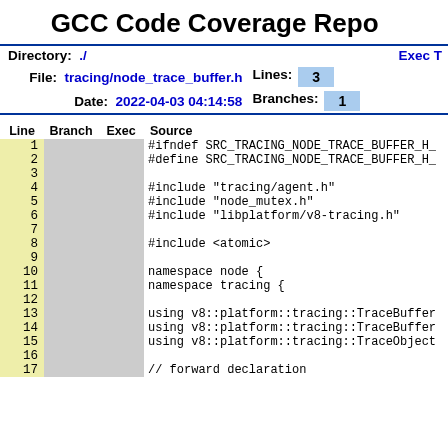GCC Code Coverage Report
| Field | Value |
| --- | --- |
| Directory: | ./ |
| File: | tracing/node_trace_buffer.h | Lines: | 3 |
| Date: | 2022-04-03 04:14:58 | Branches: | 1 |
| Line | Branch | Exec | Source |
| --- | --- | --- | --- |
| 1 |  |  | #ifndef SRC_TRACING_NODE_TRACE_BUFFER_H_ |
| 2 |  |  | #define SRC_TRACING_NODE_TRACE_BUFFER_H_ |
| 3 |  |  |  |
| 4 |  |  | #include "tracing/agent.h" |
| 5 |  |  | #include "node_mutex.h" |
| 6 |  |  | #include "libplatform/v8-tracing.h" |
| 7 |  |  |  |
| 8 |  |  | #include <atomic> |
| 9 |  |  |  |
| 10 |  |  | namespace node { |
| 11 |  |  | namespace tracing { |
| 12 |  |  |  |
| 13 |  |  | using v8::platform::tracing::TraceBuffer |
| 14 |  |  | using v8::platform::tracing::TraceBuffer |
| 15 |  |  | using v8::platform::tracing::TraceObject |
| 16 |  |  |  |
| 17 |  |  | // forward declaration |